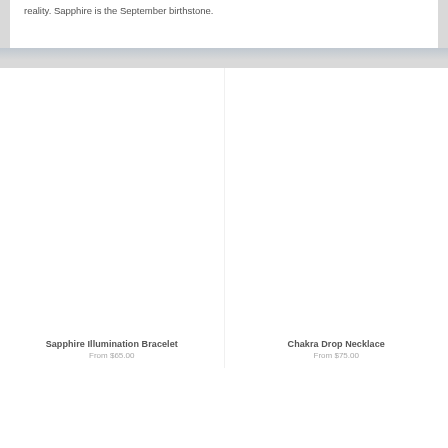reality. Sapphire is the September birthstone.
[Figure (photo): Product image area for Sapphire Illumination Bracelet (white/empty area)]
Sapphire Illumination Bracelet
From $65.00
[Figure (photo): Product image area for Chakra Drop Necklace (white/empty area)]
Chakra Drop Necklace
From $75.00